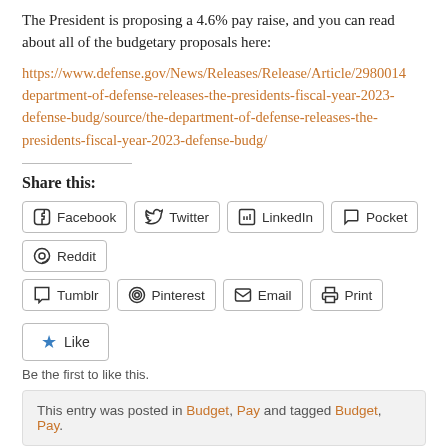The President is proposing a 4.6% pay raise, and you can read about all of the budgetary proposals here:
https://www.defense.gov/News/Releases/Release/Article/2980014/department-of-defense-releases-the-presidents-fiscal-year-2023-defense-budg/source/the-department-of-defense-releases-the-presidents-fiscal-year-2023-defense-budg/
Share this:
Facebook  Twitter  LinkedIn  Pocket  Reddit  Tumblr  Pinterest  Email  Print
Like
Be the first to like this.
This entry was posted in Budget, Pay and tagged Budget, Pay.
New in 2022: A coming debate over military pay could lead to troops' biggest raise in 20